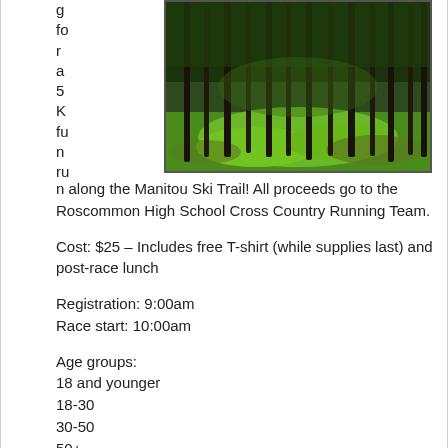g
fo
r
a
5
K
fu
n
ru
[Figure (photo): Forest trail with tall thin trees and lush green ground cover]
n along the Manitou Ski Trail! All proceeds go to the Roscommon High School Cross Country Running Team.
Cost: $25 – Includes free T-shirt (while supplies last) and post-race lunch
Registration: 9:00am
Race start: 10:00am
Age groups:
18 and younger
18-30
30-50
50+
Medals for overall male and female winner and for winner of each age group!